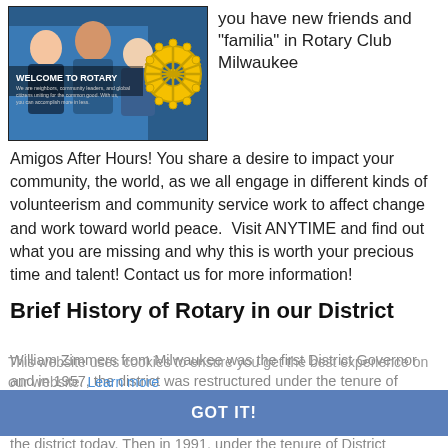[Figure (photo): Welcome to Rotary banner image showing people smiling and collaborating, with the Rotary wheel logo on the right side. Text overlay reads: WELCOME TO ROTARY - We are neighbors, community leaders, and global citizens uniting for the common good. With us, you can accomplish more in less.]
you have new friends and "familia" in Rotary Club Milwaukee Amigos After Hours! You share a desire to impact your community, the world, as we all engage in different kinds of volunteerism and community service work to affect change and work toward world peace.  Visit ANYTIME and find out what you are missing and why this is worth your precious time and talent! Contact us for more information!
Brief History of Rotary in our District
William Zimmers from Milwaukee was the first District Governor and in 1957, the district was restructured under the tenure of District Governor George Markham Jr. to become Rotary District 627 and this included many of the cities and towns that remain in the district today. Then in 1991, under the tenure of District
This website uses cookies to ensure you get the best experience on our website. Learn more
GOT IT!